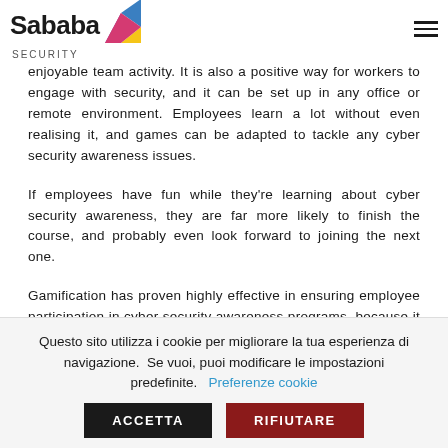Sababa Security
enjoyable team activity. It is also a positive way for workers to engage with security, and it can be set up in any office or remote environment. Employees learn a lot without even realising it, and games can be adapted to tackle any cyber security awareness issues.
If employees have fun while they're learning about cyber security awareness, they are far more likely to finish the course, and probably even look forward to joining the next one.
Gamification has proven highly effective in ensuring employee participation in cyber security awareness programs, because it incentivises them to perform
Questo sito utilizza i cookie per migliorare la tua esperienza di navigazione. Se vuoi, puoi modificare le impostazioni predefinite. Preferenze cookie ACCETTA RIFIUTARE